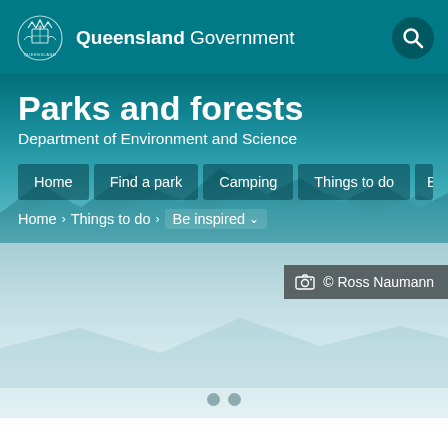Queensland Government
Parks and forests
Department of Environment and Science
Home
Find a park
Camping
Things to do
Be...
Home > Things to do > Be inspired
[Figure (screenshot): Queensland Parks and Forests website header screenshot showing teal branded navigation with mountain silhouette background and photo credit: © Ross Naumann]
© Ross Naumann